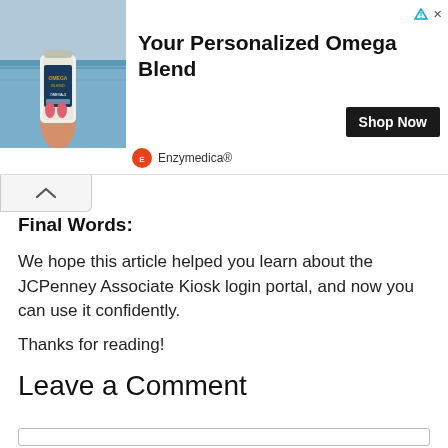[Figure (photo): Advertisement banner: Enzymedica personalized Omega Blend supplement product photo with a person holding a bottle near a pool. Includes 'Shop Now' button and Enzymedica brand logo.]
Final Words:
We hope this article helped you learn about the JCPenney Associate Kiosk login portal, and now you can use it confidently.
Thanks for reading!
Leave a Comment